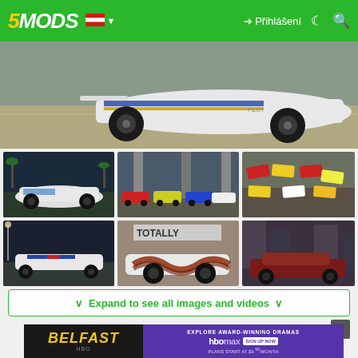5MODS — Přihlášení
[Figure (screenshot): Hero image showing a white lowered sports car (rear view) on a parking lot, with blue/yellow livery stripes]
[Figure (screenshot): White Honda Civic EG hatchback with police-style livery, parked near palm trees at night]
[Figure (screenshot): Multiple colorful racing cars (red, yellow, blue, white) lined up under a bridge/overpass]
[Figure (screenshot): Aerial view of multiple colorful racing cars parked in a lot]
[Figure (screenshot): White BMW police car driving on a street at night]
[Figure (screenshot): White sports car with brown/red flame livery near TOTALLY building sign]
[Figure (screenshot): Dark red/maroon sports car on city street]
∨ Expand to see all images and videos ∨
[Figure (screenshot): Advertisement: Belfast HBO Max — Explore Award-Winning Dramas, Plans start at $9.99/month]